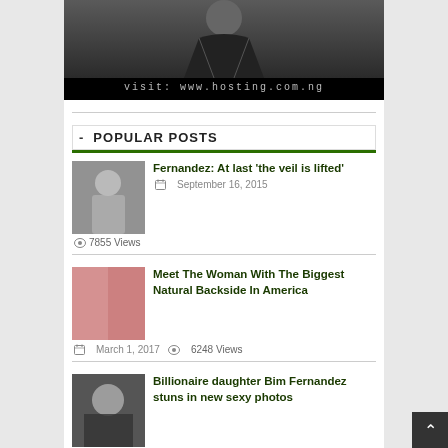[Figure (photo): Advertisement banner with man in black suit, text 'REQUEST A QUOTE' at top and 'visit: www.hosting.com.ng' at bottom on black strip]
POPULAR POSTS
Fernandez: At last 'the veil is lifted'
September 16, 2015 · 7855 Views
Meet The Woman With The Biggest Natural Backside In America
March 1, 2017 · 6248 Views
Billionaire daughter Bim Fernandez stuns in new sexy photos
August 8, 2015 · 4144 Views